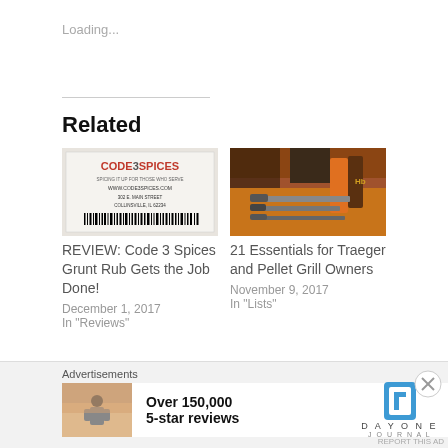Loading...
Related
[Figure (photo): Code 3 Spices product label showing CODE3SPICES, www.code3spices.com, 302 E. Main Street, Collinsville, IL 62234 with barcode]
REVIEW: Code 3 Spices Grunt Rub Gets the Job Done!
December 1, 2017
In "Reviews"
[Figure (photo): Kitchen knives and spice bottles on a wooden table]
21 Essentials for Traeger and Pellet Grill Owners
November 9, 2017
In "Lists"
Advertisements
[Figure (photo): Advertisement: Over 150,000 5-star reviews - Day One Journal app]
REPORT THIS AD